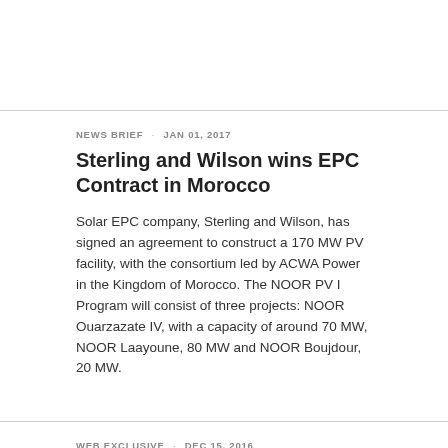NEWS BRIEF · JAN 01, 2017
Sterling and Wilson wins EPC Contract in Morocco
Solar EPC company, Sterling and Wilson, has signed an agreement to construct a 170 MW PV facility, with the consortium led by ACWA Power in the Kingdom of Morocco. The NOOR PV I Program will consist of three projects: NOOR Ouarzazate IV, with a capacity of around 70 MW, NOOR Laayoune, 80 MW and NOOR Boujdour, 20 MW.
WEB EXCLUSIVE · DEC 15, 2016
Sterling and Wilson wins EPC Contract in Morocco